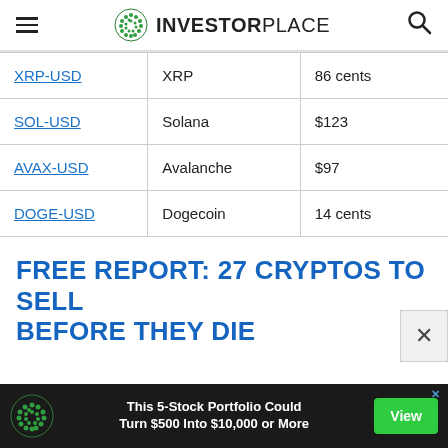InvestorPlace
| XRP-USD | XRP | 86 cents |
| SOL-USD | Solana | $123 |
| AVAX-USD | Avalanche | $97 |
| DOGE-USD | Dogecoin | 14 cents |
FREE REPORT: 27 CRYPTOS TO SELL BEFORE THEY DIE
[Figure (infographic): Advertisement banner: green dot logo, text 'This 5-Stock Portfolio Could Turn $500 Into $10,000 or More', green View button]